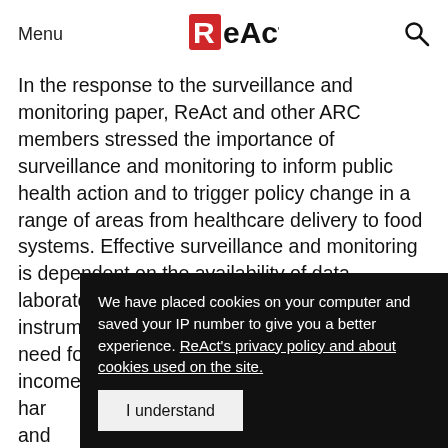Menu | ReAct | [search icon]
In the response to the surveillance and monitoring paper, ReAct and other ARC members stressed the importance of surveillance and monitoring to inform public health action and to trigger policy change in a range of areas from healthcare delivery to food systems. Effective surveillance and monitoring is dependent on the availability of data, laboratory infrastructure, and standardized instruments. ARC members highlighted the need for greater support for low- and middle income countries (LMICs) har... and... also... from... as p...
We have placed cookies on your computer and saved your IP number to give you a better experience. ReAct's privacy policy and about cookies used on the site. I understand